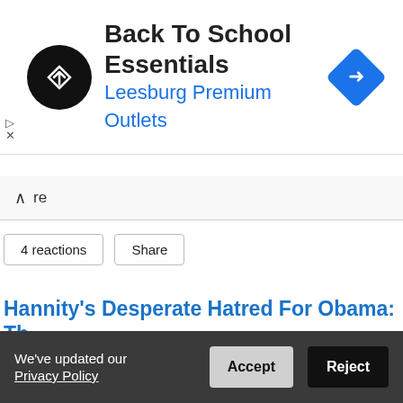[Figure (infographic): Ad banner: Back To School Essentials, Leesburg Premium Outlets, with circular black logo and blue arrow road sign icon]
re
4 reactions   Share
Hannity's Desperate Hatred For Obama: The Quiz Show
POSTED BY ELLEN · MARCH 31, 2012 11:36 AM · 9 REACTIONS
Last night, Sean Hannity devoted an entire segment to a quiz show where all the questions were, "Who said…" followed by a verbal gaffe. All the answers were multiple choice: George W. Bush, Sarah Palin or Barack Obama. Guess what the answer was each time?
We've updated our Privacy Policy   Accept   Reject